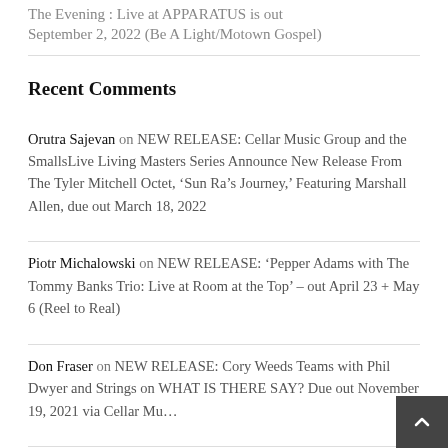The Evening : Live at APPARATUS is out September 2, 2022 (Be A Light/Motown Gospel)
Recent Comments
Orutra Sajevan on NEW RELEASE: Cellar Music Group and the SmallsLive Living Masters Series Announce New Release From The Tyler Mitchell Octet, ‘Sun Ra’s Journey,’ Featuring Marshall Allen, due out March 18, 2022
Piotr Michalowski on NEW RELEASE: ‘Pepper Adams with The Tommy Banks Trio: Live at Room at the Top’ – out April 23 + May 6 (Reel to Real)
Don Fraser on NEW RELEASE: Cory Weeds Teams with Phil Dwyer and Strings on WHAT IS THERE SAY? Due out November 19, 2021 via Cellar Mu…